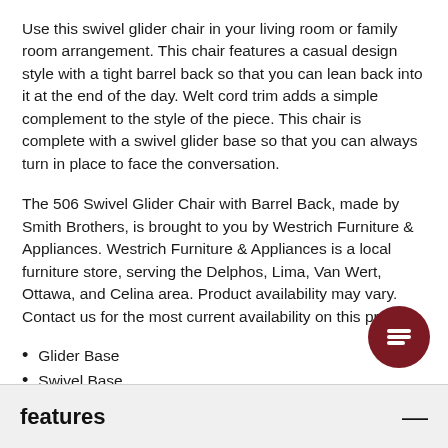Use this swivel glider chair in your living room or family room arrangement. This chair features a casual design style with a tight barrel back so that you can lean back into it at the end of the day. Welt cord trim adds a simple complement to the style of the piece. This chair is complete with a swivel glider base so that you can always turn in place to face the conversation.
The 506 Swivel Glider Chair with Barrel Back, made by Smith Brothers, is brought to you by Westrich Furniture & Appliances. Westrich Furniture & Appliances is a local furniture store, serving the Delphos, Lima, Van Wert, Ottawa, and Celina area. Product availability may vary. Contact us for the most current availability on this product.
Glider Base
Swivel Base
features —